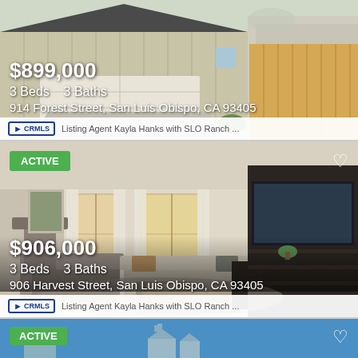[Figure (photo): Exterior photo of a house at 914 Forest Street with garage, showing two homes side by side]
$899,000
3 Beds   3 Baths
914 Forest Street, San Luis Obispo, CA 93405
CRMLS Listing Agent Kayla Hanks with SLO Ranch ...
[Figure (photo): Interior photo of a modern living room at 906 Harvest Street with sofas, coffee table, and dark entertainment unit with TV]
ACTIVE
$906,000
3 Beds   3 Baths
906 Harvest Street, San Luis Obispo, CA 93405
CRMLS Listing Agent Kayla Hanks with SLO Ranch ...
[Figure (photo): Third listing card with blue background showing ACTIVE badge and placeholder house illustration]
ACTIVE